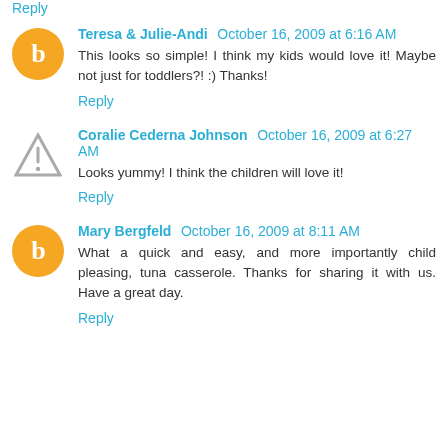Reply
Teresa & Julie-Andi  October 16, 2009 at 6:16 AM
This looks so simple! I think my kids would love it! Maybe not just for toddlers?! :) Thanks!
Reply
Coralie Cederna Johnson  October 16, 2009 at 6:27 AM
Looks yummy! I think the children will love it!
Reply
Mary Bergfeld  October 16, 2009 at 8:11 AM
What a quick and easy, and more importantly child pleasing, tuna casserole. Thanks for sharing it with us. Have a great day.
Reply